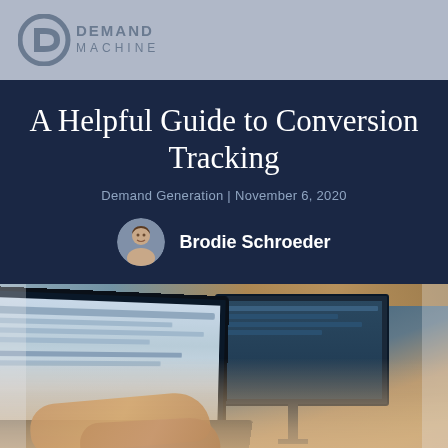[Figure (logo): Demand Machine logo with circular D icon and text DEMAND MACHINE]
A Helpful Guide to Conversion Tracking
Demand Generation | November 6, 2020
Brodie Schroeder
[Figure (photo): Person typing on laptop with monitors in background, blurred background style photography]